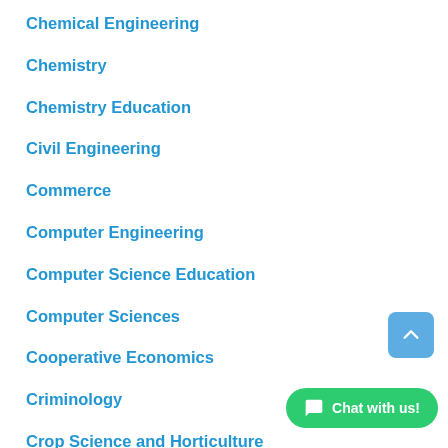Chemical Engineering
Chemistry
Chemistry Education
Civil Engineering
Commerce
Computer Engineering
Computer Science Education
Computer Sciences
Cooperative Economics
Criminology
Crop Science and Horticulture
Disaster and Risk Management